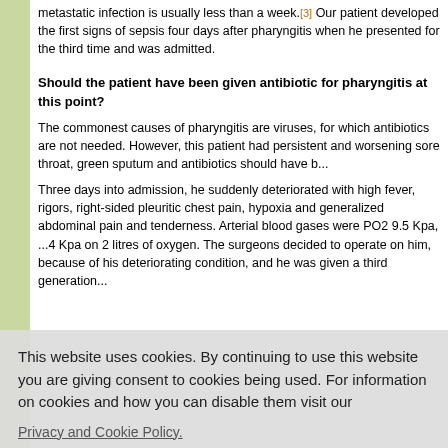The interval between the pharyngitis and metastatic infection is usually less than a week.[3] Our patient developed the first signs of sepsis four days after pharyngitis when he presented for the third time and was admitted.
Should the patient have been given antibiotic for pharyngitis at this point?
The commonest causes of pharyngitis are viruses, for which antibiotics are not needed. However, this patient had persistent and worsening sore throat, green sputum and ... antibiotics should have b...
Three days into admission, he suddenly deteriorated with high fever, rigors, right-sided pleuritic chest pain, hypoxia and generalized abdominal pain and tenderness. Arterial blood gases were PO2 9.5 Kpa, ...4 Kpa on 2 litres of oxygen. The surgeons decided to operate on him, because of his deteriorating condition, and he was given a third generation...
This website uses cookies. By continuing to use this website you are giving consent to cookies being used. For information on cookies and how you can disable them visit our
Privacy and Cookie Policy.
AGREE & PROCEED